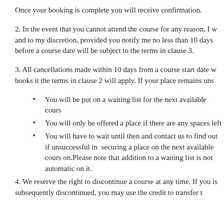Once your booking is complete you will receive confirmation.
2. In the event that you cannot attend the course for any reason, I w and to my discretion, provided you notify me no less than 10 days before a course date will be subject to the terms in clause 3.
3. All cancellations made within 10 days from a course start date w books it the terms in clause 2 will apply. If your place remains uns
You will be put on a waiting list for the next available cours
You will only be offered a place if there are any spaces left
You will have to wait until then and contact us to find out if unsuccessful in  securing a place on the next available cours on.Please note that addition to a waiting list is not automatic on it.
4. We reserve the right to discontinue a course at any time. If you is subsequently discontinued, you may use the credit to transfer t